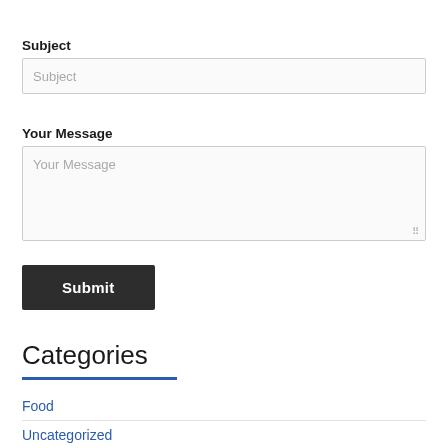Subject
[Figure (screenshot): Subject input field with placeholder text 'Subject']
Your Message
[Figure (screenshot): Your Message textarea with placeholder text 'Your Message' and resize handle]
[Figure (screenshot): Submit button with dark background and white text]
Categories
Food
Uncategorized